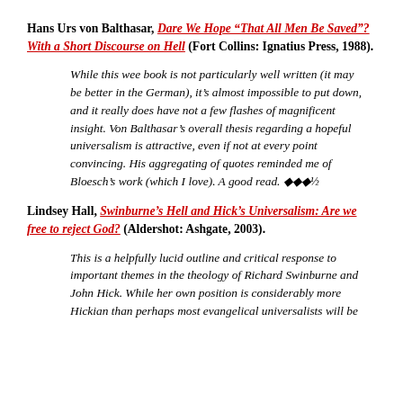Hans Urs von Balthasar, Dare We Hope "That All Men Be Saved"? With a Short Discourse on Hell (Fort Collins: Ignatius Press, 1988).
While this wee book is not particularly well written (it may be better in the German), it's almost impossible to put down, and it really does have not a few flashes of magnificent insight. Von Balthasar's overall thesis regarding a hopeful universalism is attractive, even if not at every point convincing. His aggregating of quotes reminded me of Bloesch's work (which I love). A good read. ♦♦♦½
Lindsey Hall, Swinburne's Hell and Hick's Universalism: Are we free to reject God? (Aldershot: Ashgate, 2003).
This is a helpfully lucid outline and critical response to important themes in the theology of Richard Swinburne and John Hick. While her own position is considerably more Hickian than perhaps most evangelical universalists will be